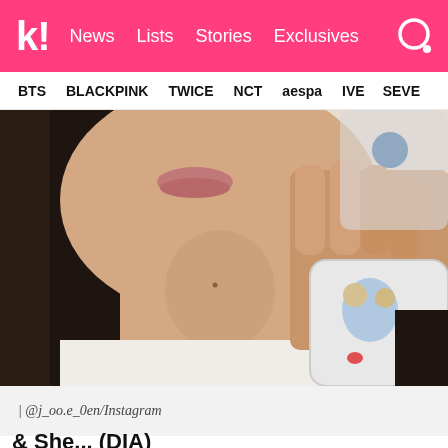k! News Lists Stories Exclusives
BTS BLACKPINK TWICE NCT aespa IVE SEVE
[Figure (photo): Close-up mirror selfie photo of a person with long dark hair, showing face from nose down and hand holding a phone with animated Disney-style character phone case (appears to be Bambi/Thumper characters). Person is wearing a white top.]
| @j_oo.e_0en/Instagram
& She... (DIA)